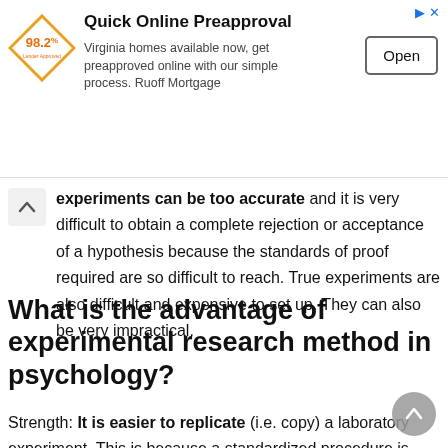[Figure (screenshot): Advertisement banner for Ruoff Mortgage Quick Online Preapproval with logo, description text, and Open button]
experiments can be too accurate and it is very difficult to obtain a complete rejection or acceptance of a hypothesis because the standards of proof required are so difficult to reach. True experiments are also difficult and expensive to set up. They can also be very impractical.
What is the advantage of experimental research method in psychology?
Strength: It is easier to replicate (i.e. copy) a laboratory experiment. This is because a standardized procedure is